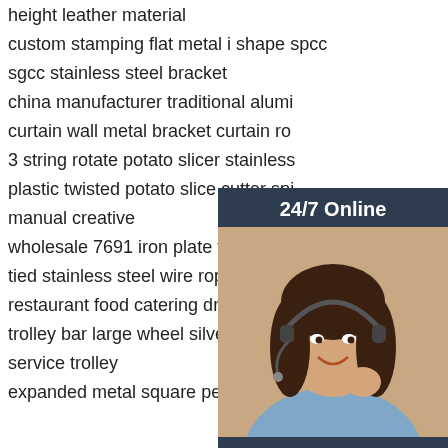height leather material
custom stamping flat metal i shape spcc
sgcc stainless steel bracket
china manufacturer traditional alumi…
curtain wall metal bracket curtain ro…
3 string rotate potato slicer stainless…
plastic twisted potato slice cutter spi…
manual creative
wholesale 7691 iron plate fish hook…
tied stainless steel wire rope
restaurant food catering drinking serving
trolley bar large wheel silver cart food
service trolley
expanded metal square pencil cup
[Figure (infographic): 24/7 Online chat widget with a customer service representative photo, 'Click here for free chat!' text, and an orange QUOTATION button]
[Figure (logo): Orange and red TOP logo with dot pattern above letters]